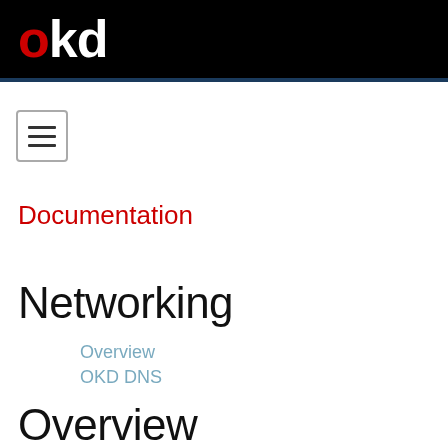okd
[Figure (other): Hamburger menu icon button with three horizontal lines, bordered square]
Documentation
Networking
Overview
OKD DNS
Overview